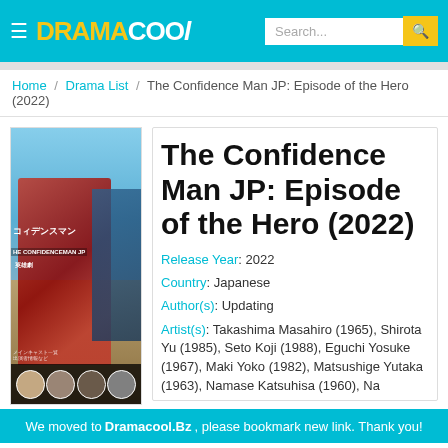DRAMACOOL
Home / Drama List / The Confidence Man JP: Episode of the Hero (2022)
[Figure (photo): Movie poster for The Confidence Man JP: Episode of the Hero (2022) showing a woman in armor holding a sword with Japanese text]
The Confidence Man JP: Episode of the Hero (2022)
Release Year: 2022
Country: Japanese
Author(s): Updating
Artist(s): Takashima Masahiro (1965), Shirota Yu (1985), Seto Koji (1988), Eguchi Yosuke (1967), Maki Yoko (1982), Matsushige Yutaka (1963), Namase Katsuhisa (1960), Na
We moved to Dramacool.Bz, please bookmark new link. Thank you!